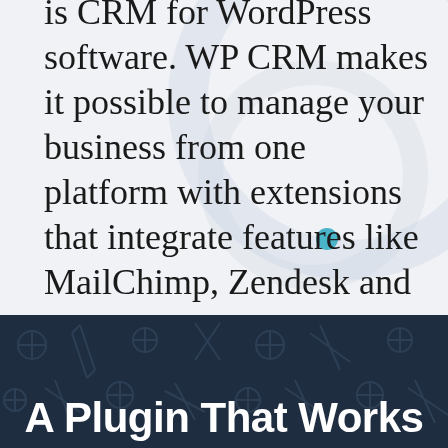is CRM for WordPress software. WP CRM makes it possible to manage your business from one platform with extensions that integrate features like MailChimp, Zendesk and WooCommerce. CRM systems like ours can ease some of the burden for small business owners who are trying to do everything.
A Plugin That Works